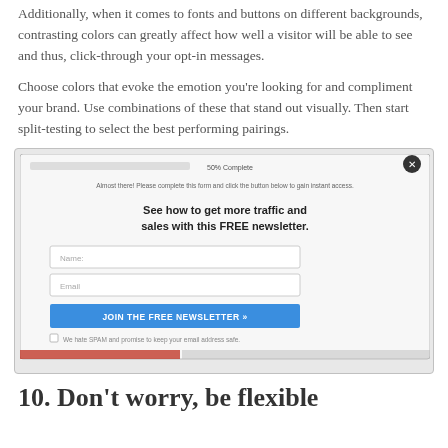Additionally, when it comes to fonts and buttons on different backgrounds, contrasting colors can greatly affect how well a visitor will be able to see and thus, click-through your opt-in messages.
Choose colors that evoke the emotion you're looking for and compliment your brand. Use combinations of these that stand out visually. Then start split-testing to select the best performing pairings.
[Figure (screenshot): Screenshot of an opt-in popup form with headline 'See how to get more traffic and sales with this FREE newsletter.' with Name and Email fields, a blue JOIN THE FREE NEWSLETTER button, and a close X button in the top-right corner.]
10. Don't worry, be flexible